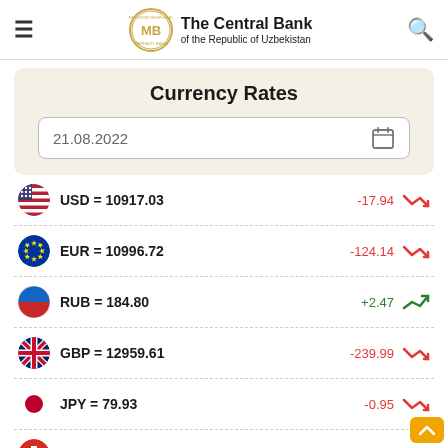The Central Bank of the Republic of Uzbekistan
Currency Rates
21.08.2022
| Currency | Rate | Change | Trend |
| --- | --- | --- | --- |
| USD | 10917.03 | -17.94 | down |
| EUR | 10996.72 | -124.14 | down |
| RUB | 184.80 | +2.47 | up |
| GBP | 12959.61 | -239.99 | down |
| JPY | 79.93 | -0.95 | down |
| CHF | 11421.88 | -49.97 | down |